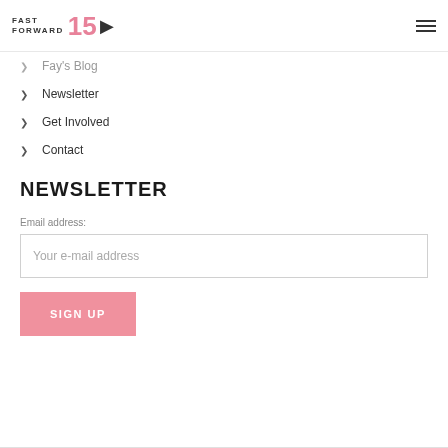FAST FORWARD 15
Fay's Blog
Newsletter
Get Involved
Contact
NEWSLETTER
Email address:
Your e-mail address
SIGN UP